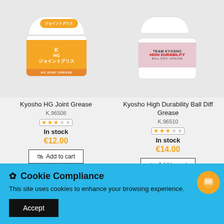[Figure (photo): Kyosho HG Joint Grease product jar with orange label showing Japanese text and K logo]
Kyosho HG Joint Grease
K.96508
[Figure (other): Star rating: 3 filled stars, 2 empty stars]
In stock
€12.00
[Figure (photo): Kyosho High Durability Ball Diff Grease product jar with pink/white label showing Team Kyosho branding]
Kyosho High Durability Ball Diff Grease
K.96510
[Figure (other): Star rating: 3 filled stars, 2 empty stars]
In stock
€14.00
Cookie Compliance
This site uses cookies to enhance your browsing experience.
Accept